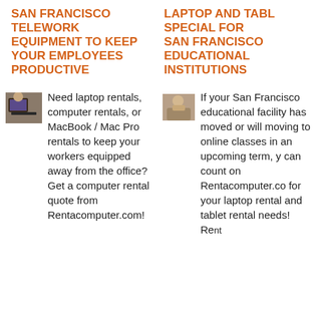SAN FRANCISCO TELEWORK EQUIPMENT TO KEEP YOUR EMPLOYEES PRODUCTIVE
[Figure (photo): Small thumbnail photo of person working at a computer/laptop]
Need laptop rentals, computer rentals, or MacBook / Mac Pro rentals to keep your workers equipped away from the office? Get a computer rental quote from Rentacomputer.com!
LAPTOP AND TABLET SPECIAL FOR SAN FRANCISCO EDUCATIONAL INSTITUTIONS
[Figure (photo): Small thumbnail photo of person working on a laptop]
If your San Francisco educational facility has moved or will moving to online classes in an upcoming term, you can count on Rentacomputer.com for your laptop rental and tablet rental needs! Rent...